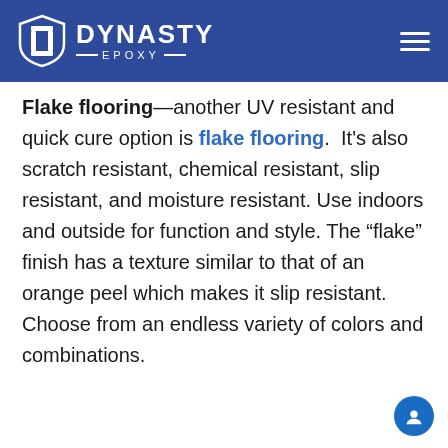DYNASTY EPOXY
Flake flooring—another UV resistant and quick cure option is flake flooring. It's also scratch resistant, chemical resistant, slip resistant, and moisture resistant. Use indoors and outside for function and style. The “flake” finish has a texture similar to that of an orange peel which makes it slip resistant. Choose from an endless variety of colors and combinations.